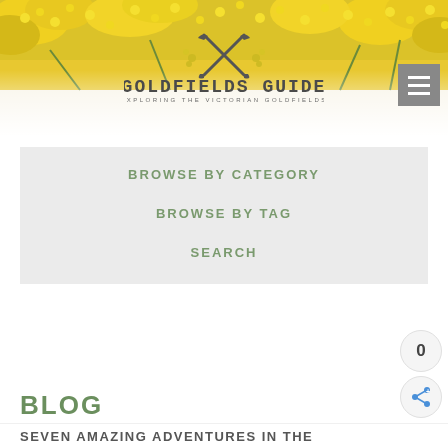[Figure (photo): Yellow wattle flowers decorating the top banner of the Goldfields Guide website header]
[Figure (logo): Goldfields Guide logo with crossed pickaxe tools and wattle flowers, text reads GOLDFIELDS GUIDE, EXPLORING THE VICTORIAN GOLDFIELDS]
BROWSE BY CATEGORY
BROWSE BY TAG
SEARCH
BLOG
SEVEN AMAZING ADVENTURES IN THE